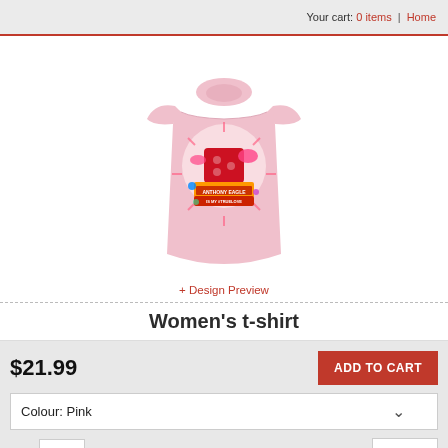Your cart: 0 items | Home
[Figure (photo): Pink women's t-shirt with a colorful graphic design featuring text 'ANTHONY EAGLE IS MY #TRUELOVE' with red and pink decorative elements]
+ Design Preview
Women's t-shirt
$21.99
ADD TO CART
Colour: Pink
Qty. 1  Size M